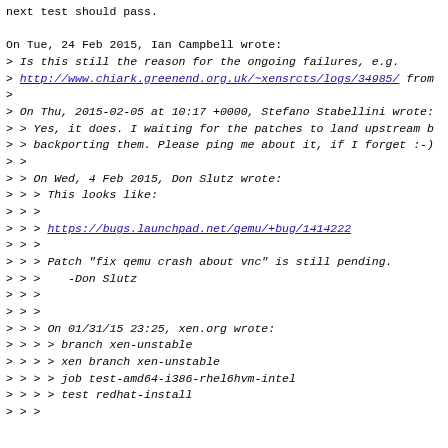next test should pass.

On Tue, 24 Feb 2015, Ian Campbell wrote:
> Is this still the reason for the ongoing failures, e.g.
> http://www.chiark.greenend.org.uk/~xensrcts/logs/34985/ from
>
> On Thu, 2015-02-05 at 10:17 +0000, Stefano Stabellini wrote:
> > Yes, it does. I waiting for the patches to land upstream b
> > backporting them. Please ping me about it, if I forget :-)
> >
> > On Wed, 4 Feb 2015, Don Slutz wrote:
> > > This looks like:
> > >
> > > https://bugs.launchpad.net/qemu/+bug/1414222
> > >
> > > Patch "fix qemu crash about vnc" is still pending.
> > >     -Don Slutz
> > >
> > >
> > > On 01/31/15 23:25, xen.org wrote:
> > > > branch xen-unstable
> > > > xen branch xen-unstable
> > > > job test-amd64-i386-rhel6hvm-intel
> > > > test redhat-install
> > >